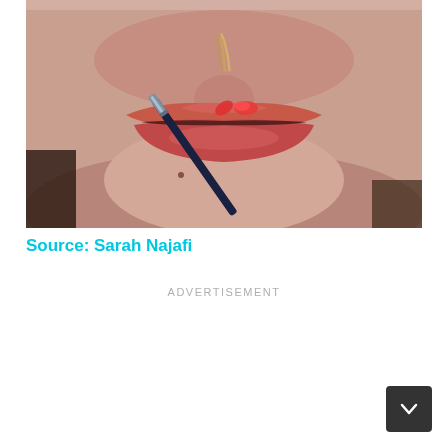[Figure (photo): Close-up photo of a woman's lips and chin. A makeup brush with red lipstick is being applied to her lips. The brush has a dark handle and silver ferrule.]
Source: Sarah Najafi
ADVERTISEMENT